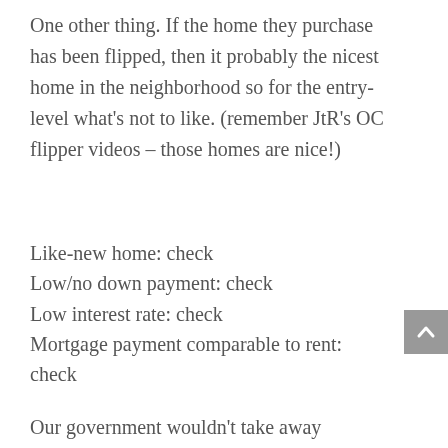One other thing. If the home they purchase has been flipped, then it probably the nicest home in the neighborhood so for the entry-level what's not to like. (remember JtR's OC flipper videos – those homes are nice!)
Like-new home: check
Low/no down payment: check
Low interest rate: check
Mortgage payment comparable to rent: check
Our government wouldn't take away